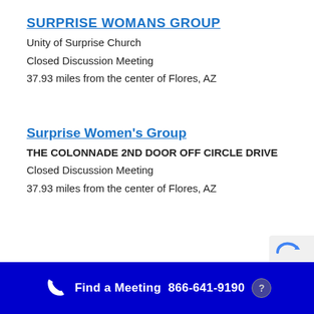SURPRISE WOMANS GROUP
Unity of Surprise Church
Closed Discussion Meeting
37.93 miles from the center of Flores, AZ
Surprise Women's Group
THE COLONNADE 2ND DOOR OFF CIRCLE DRIVE
Closed Discussion Meeting
37.93 miles from the center of Flores, AZ
Find a Meeting  866-641-9190